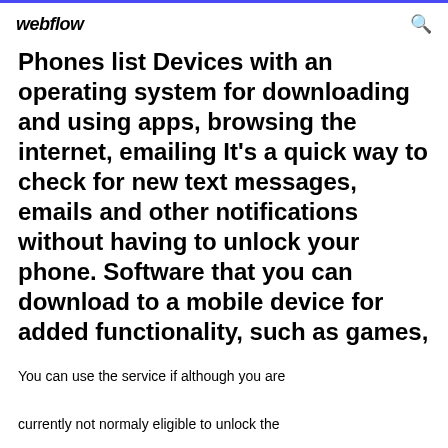webflow
Phones list Devices with an operating system for downloading and using apps, browsing the internet, emailing It's a quick way to check for new text messages, emails and other notifications without having to unlock your phone. Software that you can download to a mobile device for added functionality, such as games,
You can use the service if although you are currently not normaly eligible to unlock the